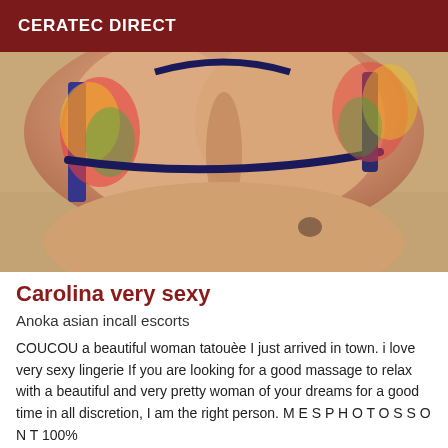CERATEC DIRECT
[Figure (photo): Close-up photo of a woman in a colorful bikini top, beach setting]
Carolina very sexy
Anoka asian incall escorts
COUCOU a beautiful woman tatouèe I just arrived in town. i love very sexy lingerie If you are looking for a good massage to relax with a beautiful and very pretty woman of your dreams for a good time in all discretion, I am the right person. M E S P H O T O S S O N T 100%